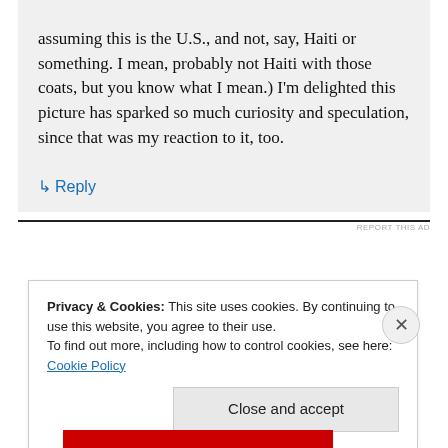assuming this is the U.S., and not, say, Haiti or something. I mean, probably not Haiti with those coats, but you know what I mean.) I'm delighted this picture has sparked so much curiosity and speculation, since that was my reaction to it, too.
↳ Reply
REPORT THIS AD
Privacy & Cookies: This site uses cookies. By continuing to use this website, you agree to their use.
To find out more, including how to control cookies, see here: Cookie Policy
Close and accept